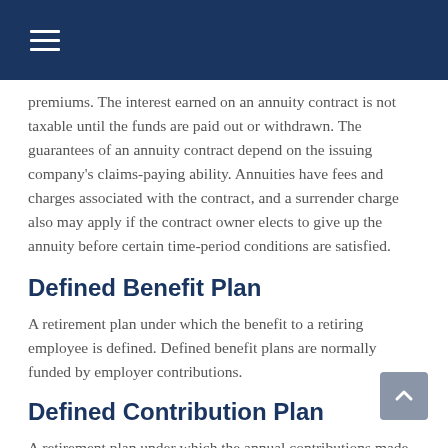premiums. The interest earned on an annuity contract is not taxable until the funds are paid out or withdrawn. The guarantees of an annuity contract depend on the issuing company's claims-paying ability. Annuities have fees and charges associated with the contract, and a surrender charge also may apply if the contract owner elects to give up the annuity before certain time-period conditions are satisfied.
Defined Benefit Plan
A retirement plan under which the benefit to a retiring employee is defined. Defined benefit plans are normally funded by employer contributions.
Defined Contribution Plan
A retirement plan under which the annual contributions made by the employer or employee are defined. Benefits may